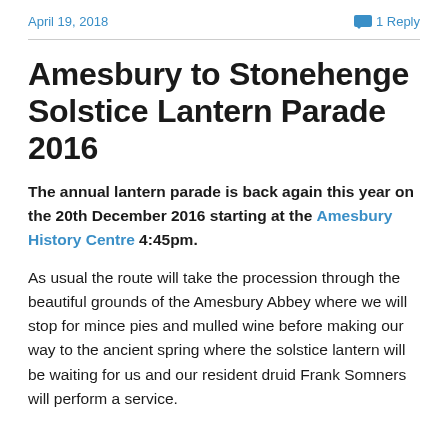April 19, 2018   1 Reply
Amesbury to Stonehenge Solstice Lantern Parade 2016
The annual lantern parade is back again this year on the 20th December 2016 starting at the Amesbury History Centre 4:45pm.
As usual the route will take the procession through the beautiful grounds of the Amesbury Abbey where we will stop for mince pies and mulled wine before making our way to the ancient spring where the solstice lantern will be waiting for us and our resident druid Frank Somners will perform a service.